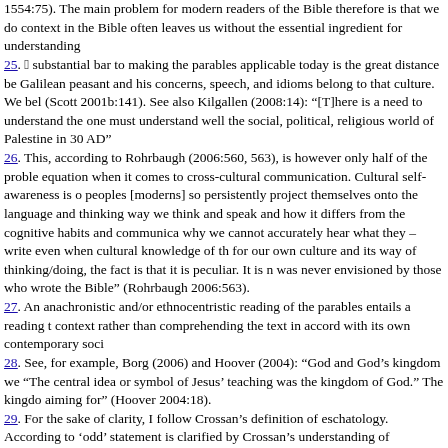1554:75). The main problem for modern readers of the Bible therefore is that we do context in the Bible often leaves us without the essential ingredient for understanding
25. “A substantial bar to making the parables applicable today is the great distance be Galilean peasant and his concerns, speech, and idioms belong to that culture. We bel (Scott 2001b:141). See also Kilgallen (2008:14): “[T]here is a need to understand the one must understand well the social, political, religious world of Palestine in 30 AD”
26. This, according to Rohrbaugh (2006:560, 563), is however only half of the proble equation when it comes to cross-cultural communication. Cultural self-awareness is o peoples [moderns] so persistently project themselves onto the language and thinking way we think and speak and how it differs from the cognitive habits and communica why we cannot accurately hear what they – write even when cultural knowledge of th for our own culture and its way of thinking/doing, the fact is that it is peculiar. It is n was never envisioned by those who wrote the Bible” (Rohrbaugh 2006:563).
27. An anachronistic and/or ethnocentristic reading of the parables entails a reading t context rather than comprehending the text in accord with its own contemporary soci
28. See, for example, Borg (2006) and Hoover (2004): “God and God’s kingdom we “The central idea or symbol of Jesus’ teaching was the kingdom of God.” The kingdo aiming for” (Hoover 2004:18).
29. For the sake of clarity, I follow Crossan’s definition of eschatology. According to ‘odd’ statement is clarified by Crossan’s understanding of eschatology, either being a be defined as transformative, social, active and durative; while apocalyptic eschatolo passive and instantive (see Crossan 1999:257–292; Crossan, in Borg, Crossan & Patt
30. Allison (1998) bases his understanding of Jesus as an apocalyptic eschatological thought the eschatological climax to be near (Ac 3:19–21; Rm 13:11; 1 Cor 16:22; H the future was continuous with his most prominent predecessor (the Baptist) and his language used in the New Testament is apocalyptic language; 3) the language used in eschatological language; 4) apocalyptic eschatology was widespread in the first centu eschatological figures such as John the Baptist, Theudas and Judas the Galilean. It is expectation of early Christianity in the pre-Easter message of Jesus, while many his